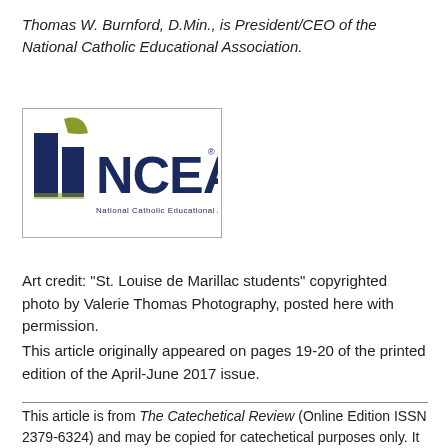Thomas W. Burnford, D.Min., is President/CEO of the National Catholic Educational Association.
[Figure (logo): NCEA logo — National Catholic Educational Association, with olive/green and dark navy blue graphic mark and bold NCEA text]
Art credit: "St. Louise de Marillac students" copyrighted photo by Valerie Thomas Photography, posted here with permission.
This article originally appeared on pages 19-20 of the printed edition of the April-June 2017 issue.
This article is from The Catechetical Review (Online Edition ISSN 2379-6324) and may be copied for catechetical purposes only. It may not be reprinted in another published work without the permission of The